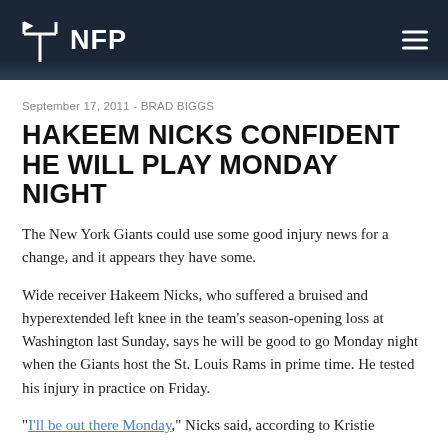NFP
September 17, 2011 - BRAD BIGGS
HAKEEM NICKS CONFIDENT HE WILL PLAY MONDAY NIGHT
The New York Giants could use some good injury news for a change, and it appears they have some.
Wide receiver Hakeem Nicks, who suffered a bruised and hyperextended left knee in the team's season-opening loss at Washington last Sunday, says he will be good to go Monday night when the Giants host the St. Louis Rams in prime time. He tested his injury in practice on Friday.
"I'll be out there Monday," Nicks said, according to Kristie